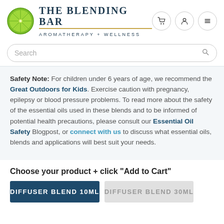[Figure (logo): The Blending Bar logo with lime/citrus circle graphic and brand name 'THE BLENDING BAR AROMATHERAPY + WELLNESS']
[Figure (screenshot): Search bar with placeholder 'Search' and magnifying glass icon]
Safety Note: For children under 6 years of age, we recommend the Great Outdoors for Kids. Exercise caution with pregnancy, epilepsy or blood pressure problems. To read more about the safety of the essential oils used in these blends and to be informed of potential health precautions, please consult our Essential Oil Safety Blogpost, or connect with us to discuss what essential oils, blends and applications will best suit your needs.
Choose your product + click "Add to Cart"
DIFFUSER BLEND 10ML
DIFFUSER BLEND 30ML